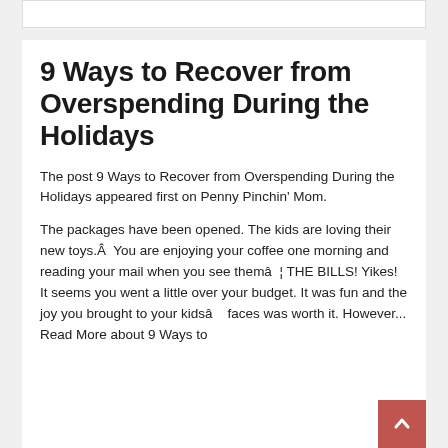9 Ways to Recover from Overspending During the Holidays
The post 9 Ways to Recover from Overspending During the Holidays appeared first on Penny Pinchin' Mom.
The packages have been opened. The kids are loving their new toys.Â  You are enjoying your coffee one morning and reading your mail when you see themâ¦ THE BILLS! Yikes! It seems you went a little over your budget. It was fun and the joy you brought to your kidsâ faces was worth it. However... Read More about 9 Ways to